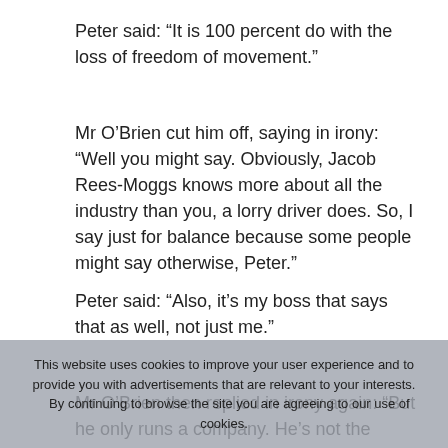Peter said: “It is 100 percent do with the loss of freedom of movement.”
Mr O’Brien cut him off, saying in irony: “Well you might say. Obviously, Jacob Rees-Moggs knows more about all the industry than you, a lorry driver does. So, I say just for balance because some people might say otherwise, Peter.”
Peter said: “Also, it’s my boss that says that as well, not just me.”
Mr O’Brien then replied in irony again: “But he only runs a company. He’s not the minister for Brexit opportunities boasting about how we’re going to have we’re going to be able to make hoovers more powerful, is he? So, let’s get everything in perspective here, Peter.”
In an appeal to the Daily Express readers, Mr Rees-Mogg asked “what is it in their daily life that the government
This website uses cookies to improve your user experience and to provide you with advertisements that are relevant to your interests. By continuing to browse the site you are agreeing to our use of cookies.